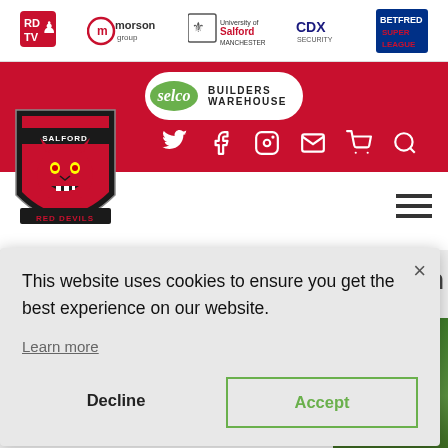Sponsors bar: RD TV, Morson Group, University of Salford Manchester, CDX Security, Betfred Super League
[Figure (logo): Selco Builders Warehouse logo on red background banner]
[Figure (logo): Salford Red Devils devil mascot shield logo]
[Figure (screenshot): Cookie consent modal overlay with Decline and Accept buttons]
This website uses cookies to ensure you get the best experience on our website.
Learn more
Decline
Accept